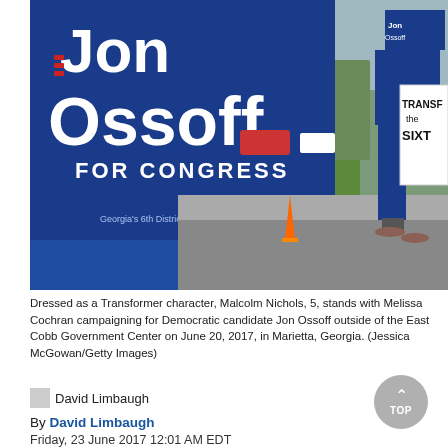[Figure (photo): Campaign scene: A large blue Jon Ossoff For Congress sign in foreground, with supporters holding signs including one reading 'Transform the Sixth' on a street with traffic, grass median, and orange traffic cone visible.]
Dressed as a Transformer character, Malcolm Nichols, 5, stands with Melissa Cochran campaigning for Democratic candidate Jon Ossoff outside of the East Cobb Government Center on June 20, 2017, in Marietta, Georgia. (Jessica McGowan/Getty Images)
David Limbaugh
By David Limbaugh
Friday, 23 June 2017 12:01 AM EDT
Current | Bio | Archive